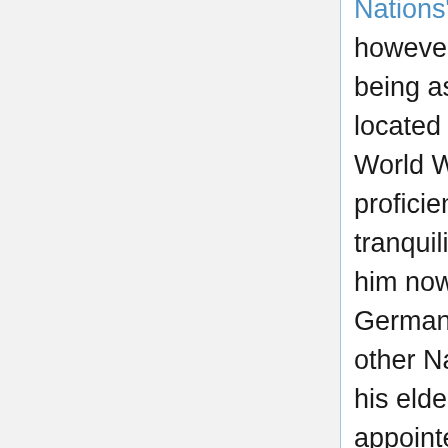Nations", 2018/12/28: "This infirmity however, did not prevent Schaefer from being assigned as a nurse to a hospital located on the western front during World War II. As a nurse he became proficient at administering drugs and tranquilizers. [...] Among those following him now were former members of the German Gestapo, the SS, and various other Nazi organizations. Chief among his elders were Albert Schreiber, appointed Head of Security; Gerhard Mucke, Head of Schaefer's bodyguards; and Winfried Schmidtke, Head of Electronic Surveillance. The colony was protected by barbed wire fencing, armed guards